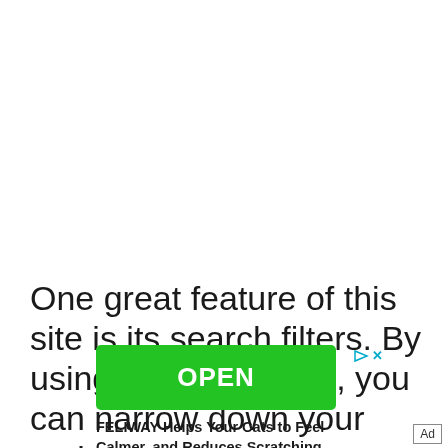One great feature of this site is its search filters. By using these features, you can narrow down your options to
[Figure (other): Advertisement banner with green OPEN button, play/close controls, and FELIWAY ad text: 'FELIWAY Helps Your Cats to Feel Calmer, and Reduces Scratching, Spraying, & Cat Conflict']